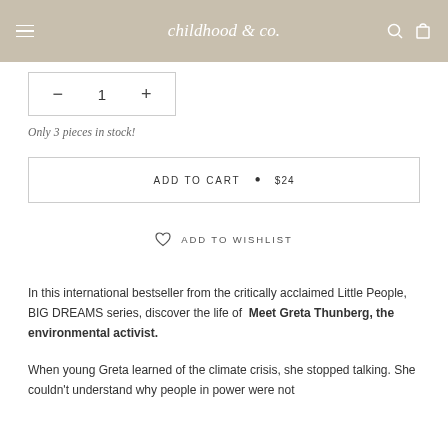childhood & co.
— 1 +
Only 3 pieces in stock!
ADD TO CART • $24
ADD TO WISHLIST
In this international bestseller from the critically acclaimed Little People, BIG DREAMS series, discover the life of  Meet Greta Thunberg, the environmental activist.
When young Greta learned of the climate crisis, she stopped talking. She couldn't understand why people in power were not